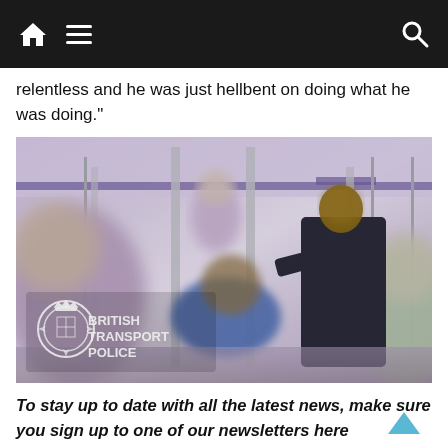Navigation bar with home, menu, and search icons
relentless and he was just hellbent on doing what he was doing."
[Figure (photo): CCTV footage from inside a train carriage showing a man in a dark jacket and other passengers, with a British Transport Police watermark in the bottom left corner.]
To stay up to date with all the latest news, make sure you sign up to one of our newsletters here
Mr Porritt described the machete as like something